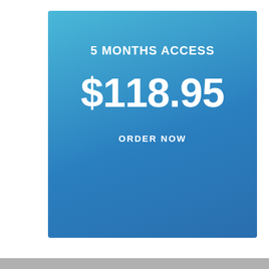5 MONTHS ACCESS
$118.95
ORDER NOW